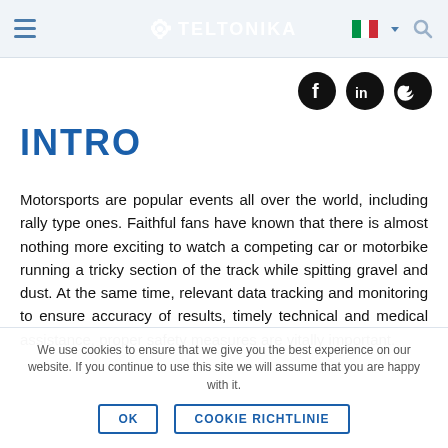Teltonika
INTRO
Motorsports are popular events all over the world, including rally type ones. Faithful fans have known that there is almost nothing more exciting to watch a competing car or motorbike running a tricky section of the track while spitting gravel and dust. At the same time, relevant data tracking and monitoring to ensure accuracy of results, timely technical and medical assistance, proper safety measures are vitally important.
We use cookies to ensure that we give you the best experience on our website. If you continue to use this site we will assume that you are happy with it.